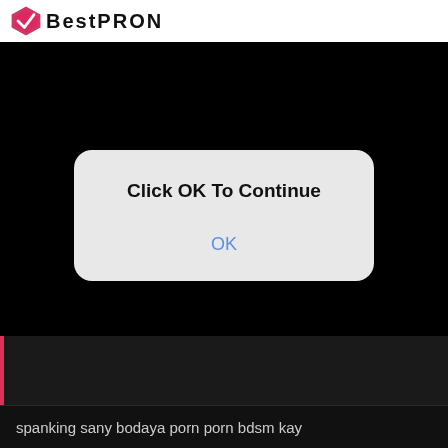[Figure (logo): BestPRON website logo with geometric diamond/shield icon in pink/red and dark text]
[Figure (screenshot): Video player with black background showing a play button (grey triangle) and a modal dialog overlay with text 'Click OK To Continue' and an OK button in blue]
Click OK To Continue
OK
spanking sany bodaya porn porn bdsm kay